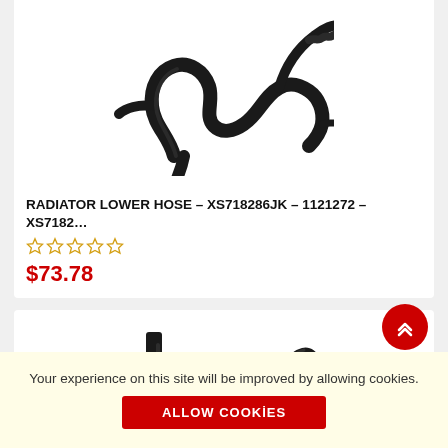[Figure (photo): Black rubber radiator lower hose with multiple outlets and connectors on white background]
RADIATOR LOWER HOSE – XS718286JK – 1121272 – XS7182…
[Figure (other): Five gold/yellow star rating icons (empty stars)]
$73.78
[Figure (photo): Black rubber radiator hose with elbow connector, partial view]
Your experience on this site will be improved by allowing cookies.
ALLOW COOKİES